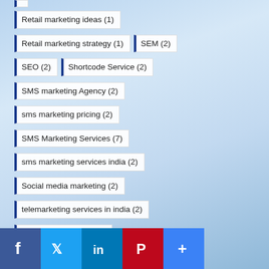Retail marketing ideas (1)
Retail marketing strategy (1)
SEM (2)
SEO (2)
Shortcode Service (2)
SMS marketing Agency (2)
sms marketing pricing (2)
SMS Marketing Services (7)
sms marketing services india (2)
Social media marketing (2)
telemarketing services in india (2)
video brochure card (2)
video brochure manufacturer (2)
voice SMS service (2)